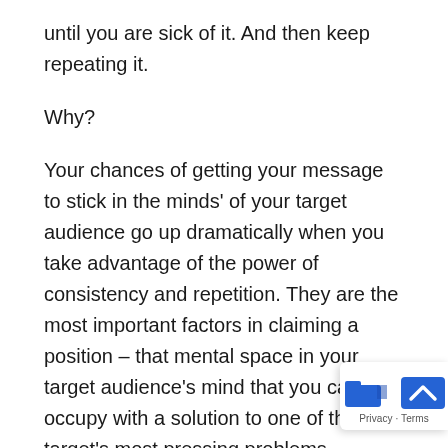until you are sick of it. And then keep repeating it.
Why?
Your chances of getting your message to stick in the minds' of your target audience go up dramatically when you take advantage of the power of consistency and repetition. They are the most important factors in claiming a position – that mental space in your target audience's mind that you can occupy with a solution to one of the target's most pressing problems.
What do I mean by consistent? I mean using positioning statement as the theme for